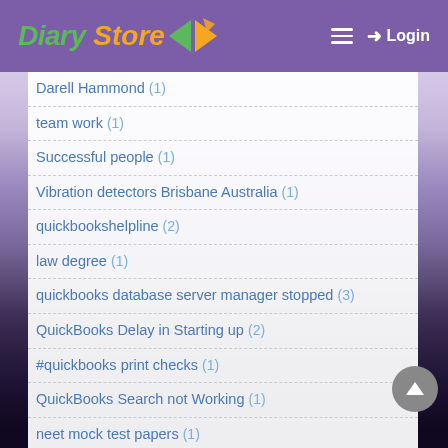Diary Store — Login
Darell Hammond (1)
team work (1)
Successful people (1)
Vibration detectors Brisbane Australia (1)
quickbookshelpline (2)
law degree (1)
quickbooks database server manager stopped (3)
QuickBooks Delay in Starting up (2)
#quickbooks print checks (1)
QuickBooks Search not Working (1)
neet mock test papers (1)
Fix Error 6177 using Quickbooks File Doctor (1)